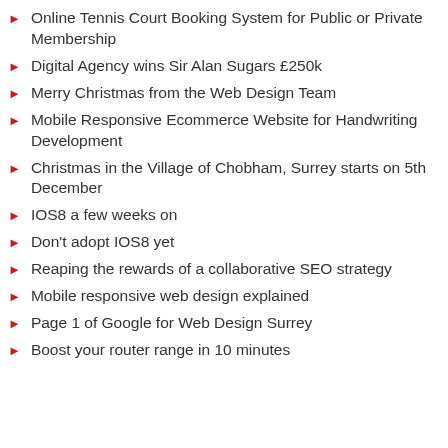Online Tennis Court Booking System for Public or Private Membership
Digital Agency wins Sir Alan Sugars £250k
Merry Christmas from the Web Design Team
Mobile Responsive Ecommerce Website for Handwriting Development
Christmas in the Village of Chobham, Surrey starts on 5th December
IOS8 a few weeks on
Don't adopt IOS8 yet
Reaping the rewards of a collaborative SEO strategy
Mobile responsive web design explained
Page 1 of Google for Web Design Surrey
Boost your router range in 10 minutes